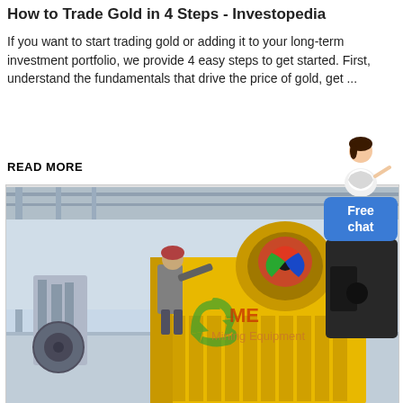How to Trade Gold in 4 Steps - Investopedia
If you want to start trading gold or adding it to your long-term investment portfolio, we provide 4 easy steps to get started. First, understand the fundamentals that drive the price of gold, get ...
READ MORE
[Figure (photo): Industrial factory floor showing a large yellow jaw crusher or mining equipment with a worker leaning over it inspecting it. A watermark reads 'Mining Equipment'. The background shows a large industrial hall with overhead cranes and additional heavy equipment.]